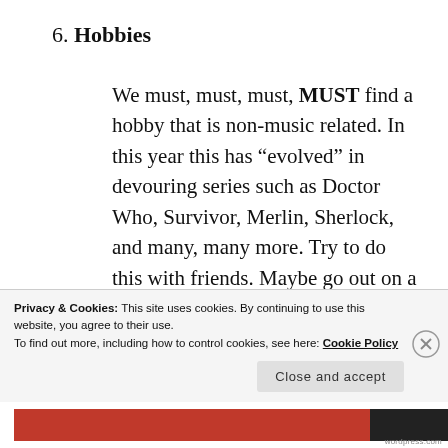6. Hobbies
We must, must, must, MUST find a hobby that is non-music related. In this year this has “evolved” in devouring series such as Doctor Who, Survivor, Merlin, Sherlock, and many, many more. Try to do this with friends. Maybe go out on a walk. A friend of mine started to do 10-mile bicycle runs (a little extreme for me). but find
Privacy & Cookies: This site uses cookies. By continuing to use this website, you agree to their use.
To find out more, including how to control cookies, see here: Cookie Policy
Close and accept